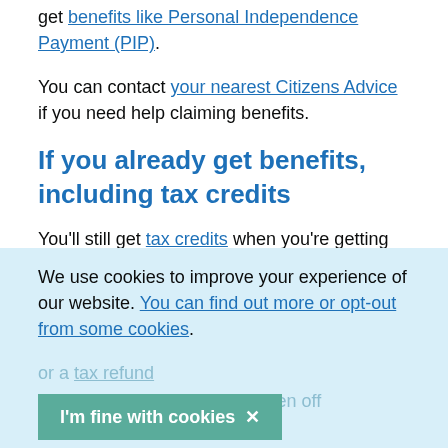get benefits like Personal Independence Payment (PIP).
You can contact your nearest Citizens Advice if you need help claiming benefits.
If you already get benefits, including tax credits
You'll still get tax credits when you're getting sick pay.
Some benefits might increase while your pay is less than usual. Tell the department that pay you about
We use cookies to improve your experience of our website. You can find out more or opt-out from some cookies.
or a tax refund
or a tax refund ☎ if you've been off
I'm fine with cookies ✕